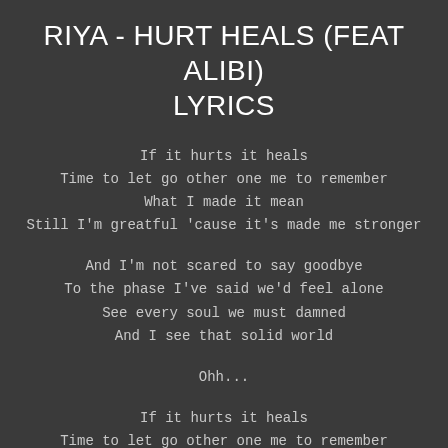RIYA - HURT HEALS (FEAT ALIBI) LYRICS
If it hurts it heals
Time to let go other one me to remember
What I made it mean
Still I'm greatful 'cause it's made me stronger
And I'm not scared to say goodbye
To the phase I've said we'd feel alone
See every soul we must damned
And I see that solid world
Ohh...
If it hurts it heals
Time to let go other one me to remember
What I made it mean
Still I'm greatful 'cause it's made me stronger